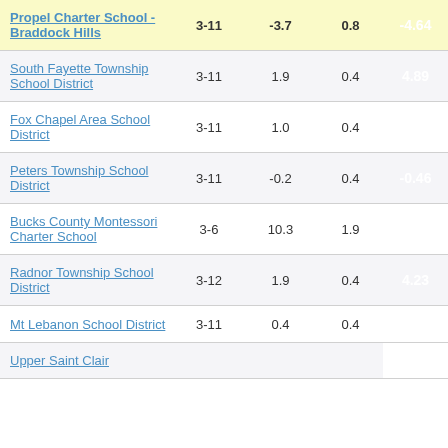| School/District | Grades | Col3 | Col4 | Score |
| --- | --- | --- | --- | --- |
| Propel Charter School - Braddock Hills | 3-11 | -3.7 | 0.8 | -4.64 |
| South Fayette Township School District | 3-11 | 1.9 | 0.4 | 4.89 |
| Fox Chapel Area School District | 3-11 | 1.0 | 0.4 | 2.45 |
| Peters Township School District | 3-11 | -0.2 | 0.4 | -0.46 |
| Bucks County Montessori Charter School | 3-6 | 10.3 | 1.9 | 5.31 |
| Radnor Township School District | 3-12 | 1.9 | 0.4 | 4.23 |
| Mt Lebanon School District | 3-11 | 0.4 | 0.4 | 1.19 |
| Upper Saint Clair |  |  |  |  |